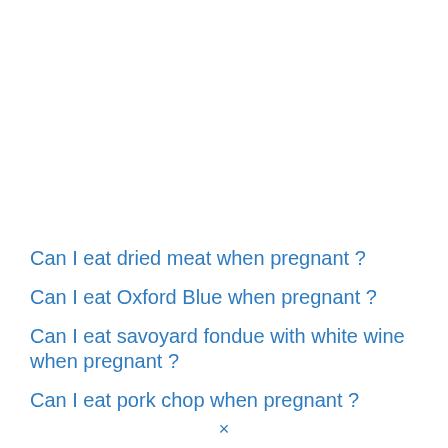Can I eat dried meat when pregnant ?
Can I eat Oxford Blue when pregnant ?
Can I eat savoyard fondue with white wine when pregnant ?
Can I eat pork chop when pregnant ?
×